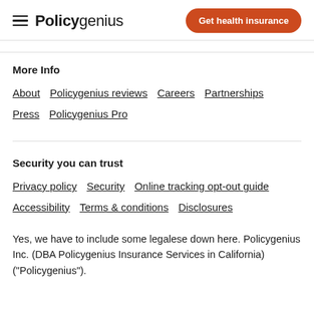Policygenius | Get health insurance
More Info
About
Policygenius reviews
Careers
Partnerships
Press
Policygenius Pro
Security you can trust
Privacy policy
Security
Online tracking opt-out guide
Accessibility
Terms & conditions
Disclosures
Yes, we have to include some legalese down here. Policygenius Inc. (DBA Policygenius Insurance Services in California) ("Policygenius"). Policygenius cannot guarantee that the information on this website is correct or up to date.